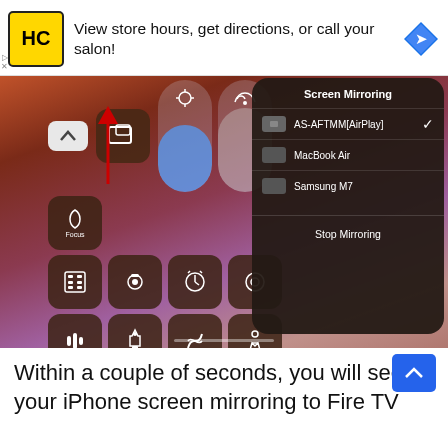[Figure (screenshot): Ad banner for Hair Cuttery salon app featuring HC logo, text 'View store hours, get directions, or call your salon!', and navigation arrow icon]
[Figure (screenshot): iPhone Control Center screenshot showing Screen Mirroring menu with AS-AFTMM[AirPlay] selected (checkmark), MacBook Air, and Samsung M7 options, with Stop Mirroring button at bottom. Left side shows iOS control center icons including Focus, brightness slider, volume slider, calculator, camera, clock, record, voice memos, flashlight, Shazam, accessibility, mail, QR code, text size, and note icons. Red arrow points upward to Screen Mirroring icon.]
Within a couple of seconds, you will see your iPhone screen mirroring to Fire TV